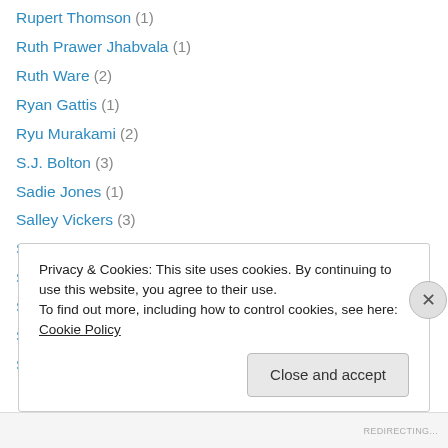Rupert Thomson (1)
Ruth Prawer Jhabvala (1)
Ruth Ware (2)
Ryan Gattis (1)
Ryu Murakami (2)
S.J. Bolton (3)
Sadie Jones (1)
Salley Vickers (3)
Sallie Day (2)
Salman Rushdie (9)
Salt Publishing (7)
Sam Byers (1)
Sam Savage (2)
Privacy & Cookies: This site uses cookies. By continuing to use this website, you agree to their use.
To find out more, including how to control cookies, see here: Cookie Policy
Close and accept